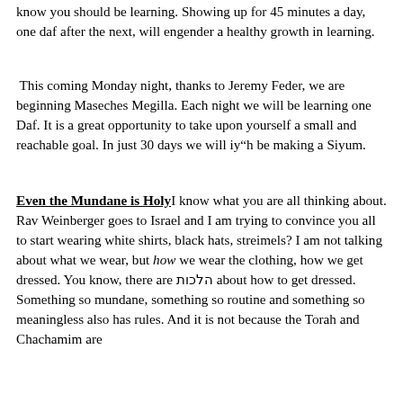know you should be learning. Showing up for 45 minutes a day, one daf after the next, will engender a healthy growth in learning.
This coming Monday night, thanks to Jeremy Feder, we are beginning Maseches Megilla. Each night we will be learning one Daf. It is a great opportunity to take upon yourself a small and reachable goal. In just 30 days we will iy"h be making a Siyum.
Even the Mundane is Holy I know what you are all thinking about. Rav Weinberger goes to Israel and I am trying to convince you all to start wearing white shirts, black hats, streimels? I am not talking about what we wear, but how we wear the clothing, how we get dressed. You know, there are הלכות about how to get dressed. Something so mundane, something so routine and something so meaningless also has rules. And it is not because the Torah and Chachamim are